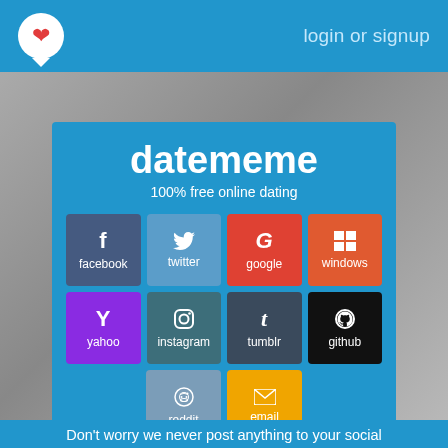login or signup
datememe
100% free online dating
[Figure (screenshot): Social login button grid with facebook, twitter, google, windows, yahoo, instagram, tumblr, github, reddit, email options]
Try Anonymous
Don't worry we never post anything to your social